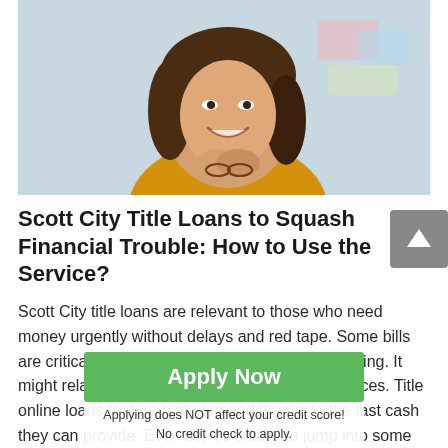[Figure (photo): Smiling young woman with brown wavy hair wearing a yellow/mustard top, holding glasses, posed against a light blurred office background.]
Scott City Title Loans to Squash Financial Trouble: How to Use the Service?
Scott City title loans are relevant to those who need money urgently without delays and red tape. Some bills are critical, meaning that they require instant paying. It might relate to utilities, even miscellaneous services. Title online loans feature high demand thanks to the fast cash they can provide. Even so, it's crucial to jump into some nuances to know about pitfalls and the
Apply Now
Applying does NOT affect your credit score!
No credit check to apply.